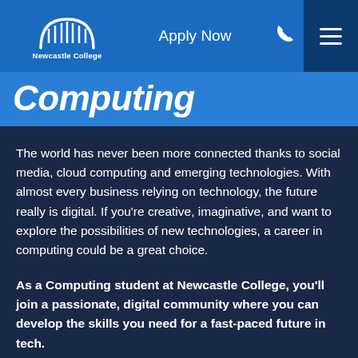Newcastle College — Apply Now
Computing
The world has never been more connected thanks to social media, cloud computing and emerging technologies. With almost every business relying on technology, the future really is digital. If you're creative, imaginative, and want to explore the possibilities of new technologies, a career in computing could be a great choice.
As a Computing student at Newcastle College, you'll join a passionate, digital community where you can develop the skills you need for a fast-paced future in tech.
Our courses focus on hands-on learning, so you'll benefit